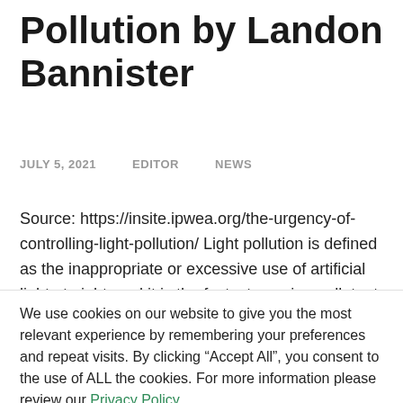Pollution by Landon Bannister
JULY 5, 2021   EDITOR   NEWS
Source: https://insite.ipwea.org/the-urgency-of-controlling-light-pollution/ Light pollution is defined as the inappropriate or excessive use of artificial light at night, and it is the fastest growing pollutant on the planet. Whilst astronomers lament the loss of stars. preventing over 80% of the world's
We use cookies on our website to give you the most relevant experience by remembering your preferences and repeat visits. By clicking “Accept All”, you consent to the use of ALL the cookies. For more information please review our Privacy Policy,